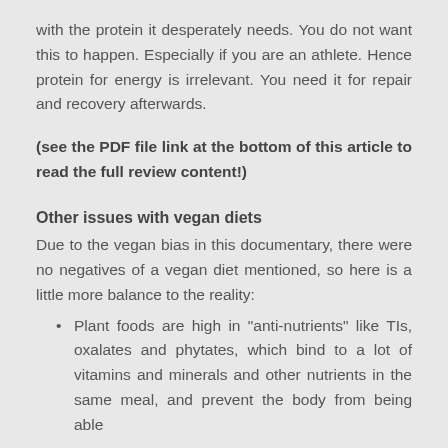with the protein it desperately needs. You do not want this to happen. Especially if you are an athlete. Hence protein for energy is irrelevant. You need it for repair and recovery afterwards.
(see the PDF file link at the bottom of this article to read the full review content!)
Other issues with vegan diets
Due to the vegan bias in this documentary, there were no negatives of a vegan diet mentioned, so here is a little more balance to the reality:
Plant foods are high in "anti-nutrients" like TIs, oxalates and phytates, which bind to a lot of vitamins and minerals and other nutrients in the same meal, and prevent the body from being able